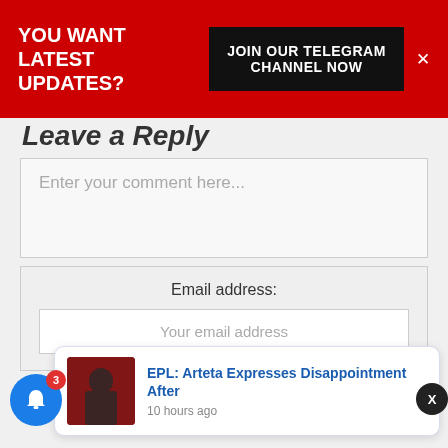YOU WANT LATEST UPDATES? JOIN OUR TELEGRAM CHANNEL NOW
Leave a Reply
Enter your comment here...
Email address:
Your email address
SIGN UP
EPL: Arteta Expresses Disappointment After
10 hours ago